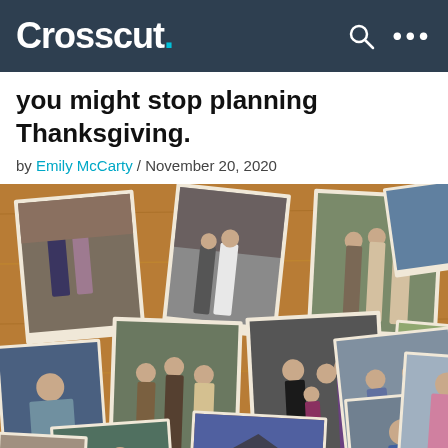Crosscut.
you might stop planning Thanksgiving.
by Emily McCarty / November 20, 2020
[Figure (photo): A collection of vintage family photographs scattered on a wooden surface, showing various groups of people at what appear to be weddings and family gatherings from the 1970s era.]